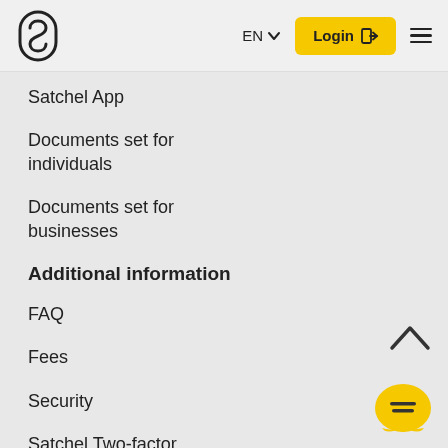Satchel logo | EN | Login | Menu
Satchel App
Documents set for individuals
Documents set for businesses
Additional information
FAQ
Fees
Security
Satchel Two-factor Authentication (2FA) User Guide
Brochures